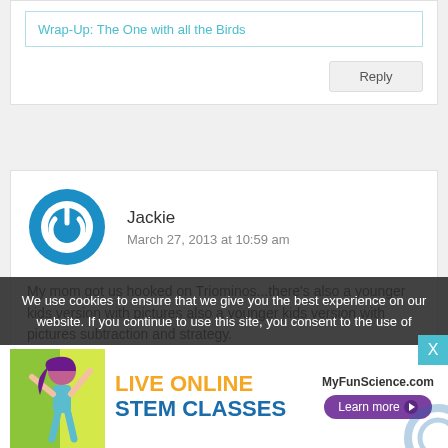Wrap-Up: The One with all the Birds
Reply
Jackie
March 27, 2013 at 10:59 am
[Figure (illustration): Blue circular power button icon used as user avatar]
My mom got us hooked on Triominos...there's also a younger kids version with pictures also a younger kids version with pictures subtraction and strategy.
We use cookies to ensure that we give you the best experience on our website. If you continue to use this site, you consent to the use of
[Figure (infographic): Advertisement banner for MyFunScience.com: LIVE ONLINE STEM CLASSES with illustration of a girl and Learn more button]